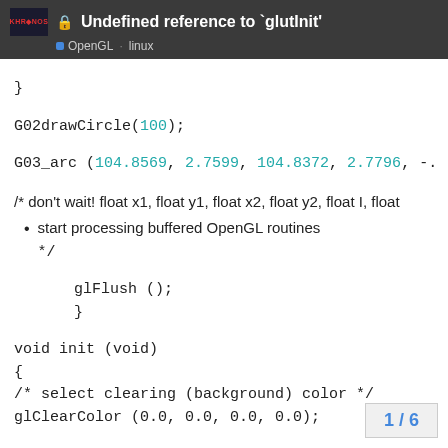Undefined reference to `glutInit' | OpenGL linux
}
G02drawCircle(100);
G03_arc (104.8569, 2.7599, 104.8372, 2.7796, -.
/* don't wait! float x1, float y1, float x2, float y2, float I, float
start processing buffered OpenGL routines */
glFlush ();
}
void init (void)
{
/* select clearing (background) color */
glClearColor (0.0, 0.0, 0.0, 0.0);

/* initialize viewing values */